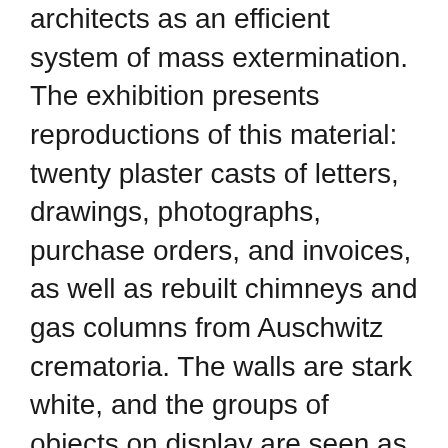architects as an efficient system of mass extermination. The exhibition presents reproductions of this material: twenty plaster casts of letters, drawings, photographs, purchase orders, and invoices, as well as rebuilt chimneys and gas columns from Auschwitz crematoria. The walls are stark white, and the groups of objects on display are seen as part of a falsely immaculate universe. They are a powerful evocation of the past and of the Nazis' horrific intentions. Architecture as Evidence revisits a dark aspect of the twentieth century